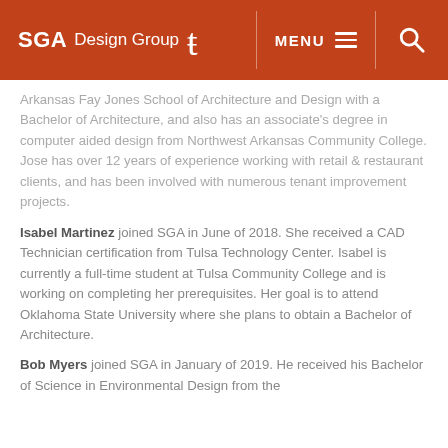SGA Design Group [logo] | MENU | [search icon]
Arkansas Fay Jones School of Architecture and Design with a Bachelor of Architecture, and also has an associate's degree in computer aided design from Northwest Arkansas Community College. Jose has over 12 years of experience working with retail & restaurant clients, and has been involved with numerous tenant improvement projects.
Isabel Martinez joined SGA in June of 2018. She received a CAD Technician certification from Tulsa Technology Center. Isabel is currently a full-time student at Tulsa Community College and is working on completing her prerequisites. Her goal is to attend Oklahoma State University where she plans to obtain a Bachelor of Architecture.
Bob Myers joined SGA in January of 2019. He received his Bachelor of Science in Environmental Design from the